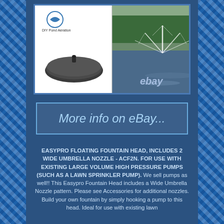[Figure (photo): EasyPro floating fountain head product image with a dark circular float head on left and a fountain spraying in a pond on the right, with 'ebay' watermark and 'DIY Pond Aeration' logo]
More info on eBay...
EASYPRO FLOATING FOUNTAIN HEAD, INCLUDES 2 WIDE UMBRELLA NOZZLE - ACF2N. FOR USE WITH EXISTING LARGE VOLUME HIGH PRESSURE PUMPS (SUCH AS A LAWN SPRINKLER PUMP). We sell pumps as well!! This Easypro Fountain Head includes a Wide Umbrella Nozzle pattern. Please see Accessories for additional nozzles. Build your own fountain by simply hooking a pump to this head. Ideal for use with existing lawn